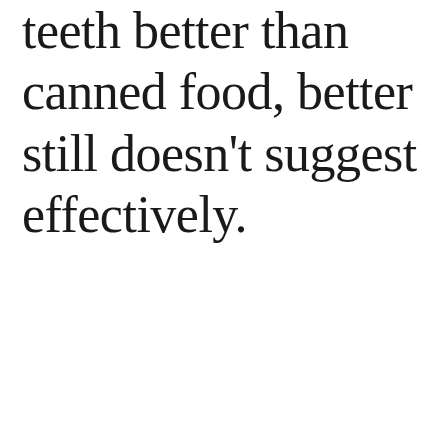teeth better than canned food, better still doesn't suggest effectively.